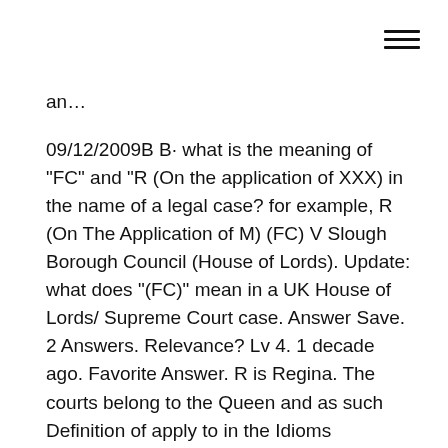an…
09/12/2009B B· what is the meaning of "FC" and "R (On the application of XXX) in the name of a legal case? for example, R (On The Application of M) (FC) V Slough Borough Council (House of Lords). Update: what does "(FC)" mean in a UK House of Lords/ Supreme Court case. Answer Save. 2 Answers. Relevance? Lv 4. 1 decade ago. Favorite Answer. R is Regina. The courts belong to the Queen and as such Definition of apply to in the Idioms Dictionary. apply to phrase. What does apply to expression mean? Definitions by the largest Idiom Dictionary. What does apply to